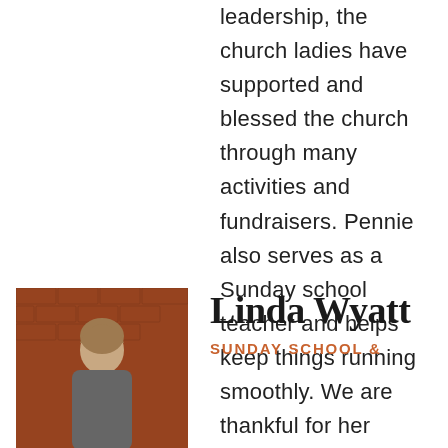leadership, the church ladies have supported and blessed the church through many activities and fundraisers. Pennie also serves as a Sunday school teacher and helps keep things running smoothly. We are thankful for her faithfulness, strong organizational skills, and attention to detail.
[Figure (photo): Portrait photo of Linda Wyatt against a brick wall background]
Linda Wyatt
SUNDAY SCHOOL &